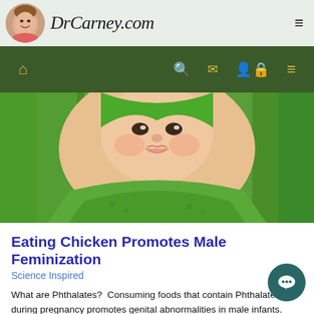DrCarney.com
[Figure (photo): Baby wrapped in green towel, smiling, close-up face and upper body]
Eating Chicken Promotes Male Feminization
Science Inspired
What are Phthalates?  Consuming foods that contain Phthalates during pregnancy promotes genital abnormalities in male infants. Phthalates are chemical compounds that are used in a wide range of c...
0 comments   Read More